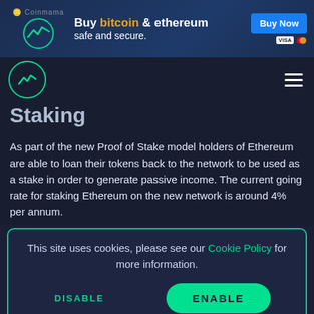[Figure (screenshot): Coinmama advertisement banner: 'Buy bitcoin & ethereum safe and secure.' with Buy Now button and payment icons (VISA, Mastercard)]
Staking
As part of the new Proof of Stake model holders of Ethereum are able to loan their tokens back to the network to be used as a stake in order to generate passive income. The current going rate for staking Ethereum on the new network is around 4% per annum.
This site uses cookies, please see our Cookie Policy for more information.
Ethereum has seen the price of the token rise from